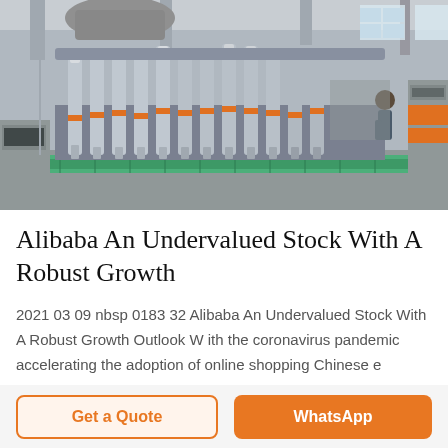[Figure (photo): Industrial factory floor with rows of metallic filling/bottling machinery on a green conveyor belt, workers visible in background, warehouse setting with boxes]
Alibaba An Undervalued Stock With A Robust Growth
2021 03 09 nbsp 0183 32 Alibaba An Undervalued Stock With A Robust Growth Outlook W ith the coronavirus pandemic accelerating the adoption of online shopping Chinese e
Get a Quote
WhatsApp